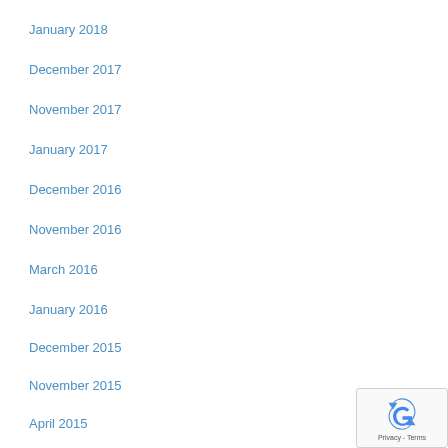January 2018
December 2017
November 2017
January 2017
December 2016
November 2016
March 2016
January 2016
December 2015
November 2015
April 2015